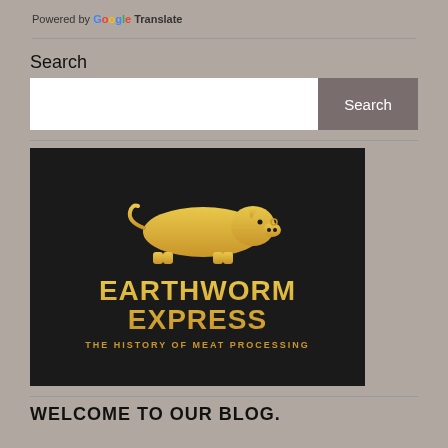Powered by Google Translate
Search
[Figure (logo): Earthworm Express logo on black background: gold pig silhouette above large gold text 'EARTHWORM EXPRESS' with subtitle 'THE HISTORY OF MEAT PROCESSING']
WELCOME TO OUR BLOG.